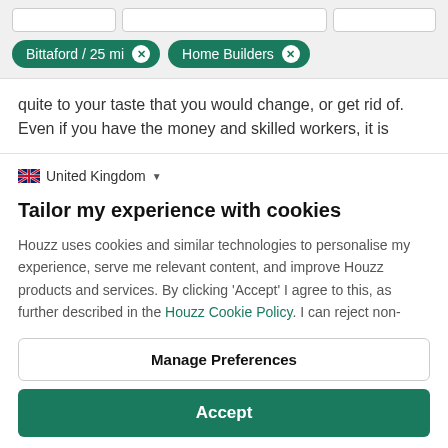[Figure (screenshot): Search filter chips showing 'Bittaford / 25 mi' and 'Home Builders' with close buttons]
quite to your taste that you would change, or get rid of. Even if you have the money and skilled workers, it is
United Kingdom
Tailor my experience with cookies
Houzz uses cookies and similar technologies to personalise my experience, serve me relevant content, and improve Houzz products and services. By clicking 'Accept' I agree to this, as further described in the Houzz Cookie Policy. I can reject non-
Manage Preferences
Accept